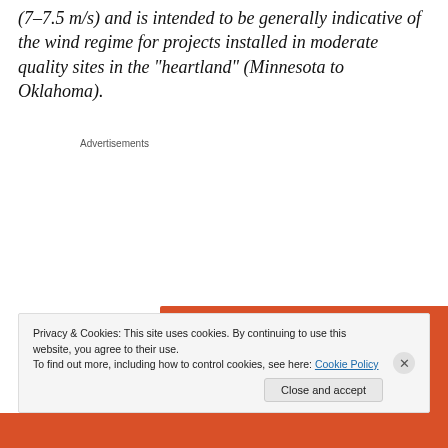(7–7.5 m/s) and is intended to be generally indicative of the wind regime for projects installed in moderate quality sites in the "heartland" (Minnesota to Oklahoma).
[Figure (screenshot): Advertisement banner with orange background. Text reads: 'Search, browse, and email with more privacy. All in One Free App' with a phone image below.]
Privacy & Cookies: This site uses cookies. By continuing to use this website, you agree to their use. To find out more, including how to control cookies, see here: Cookie Policy